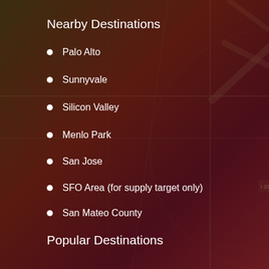[Figure (map): Background map of Mountain View, Los Altos, Sunnyvale, Palo Alto area in California with road overlays including US 101, I-280, and local roads]
Nearby Destinations
Palo Alto
Sunnyvale
Silicon Valley
Menlo Park
San Jose
SFO Area (for supply target only)
San Mateo County
Popular Destinations
Matera
Corpus Christi
Dubai
Porto Moniz
Brooklyn